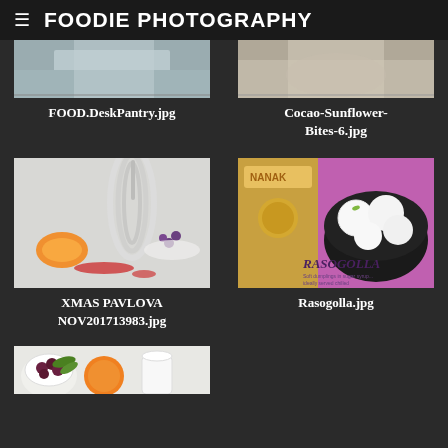FOODIE PHOTOGRAPHY
[Figure (photo): Partial top view of FOOD.DeskPantry.jpg image]
FOOD.DeskPantry.jpg
[Figure (photo): Partial top view of Cocao-Sunflower-Bites-6.jpg image]
Cocao-Sunflower-Bites-6.jpg
[Figure (photo): XMAS PAVLOVA food photo with whisk and orange slices on white background with red sauce]
XMAS PAVLOVA NOV201713983.jpg
[Figure (photo): Rasogolla.jpg - Nanak brand Rasogolla product box showing white dumplings in a black bowl]
Rasogolla.jpg
[Figure (photo): Partial bottom view of another food photo showing berries, citrus and cream]